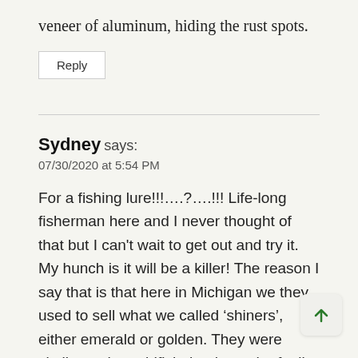veneer of aluminum, hiding the rust spots.
Reply
Sydney says:
07/30/2020 at 5:54 PM
For a fishing lure!!!….?….!!! Life-long fisherman here and I never thought of that but I can't wait to get out and try it. My hunch is it will be a killer! The reason I say that is that here in Michigan we they used to sell what we called ‘shiners’, either emerald or golden. They were similar to the goldfish that have the f tail, not the triple triangle shaped, bright silver in color. They were killers! You were guaranteed fish. In